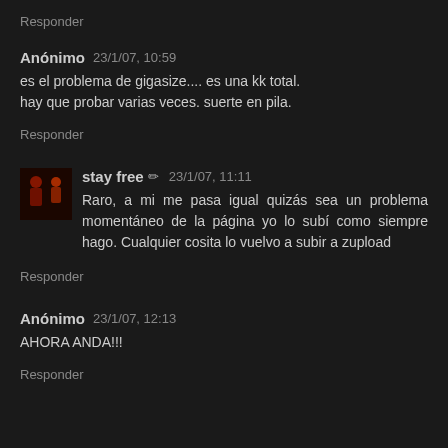Responder
Anónimo 23/1/07, 10:59
es el problema de gigasize.... es una kk total.
hay que probar varias veces. suerte en pila.
Responder
stay free ✏ 23/1/07, 11:11
Raro, a mi me pasa igual quizás sea un problema momentáneo de la página yo lo subí como siempre hago. Cualquier cosita lo vuelvo a subir a zupload
Responder
Anónimo 23/1/07, 12:13
AHORA ANDA!!!
Responder